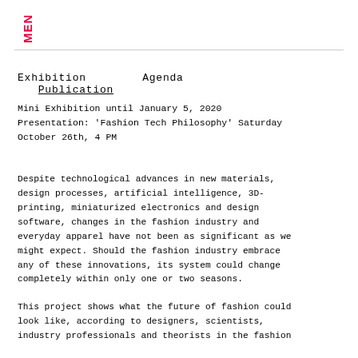MEN (logo)
Exhibition    Agenda    Publication
Mini Exhibition until January 5, 2020
Presentation: 'Fashion Tech Philosophy' Saturday
October 26th, 4 PM
Despite technological advances in new materials, design processes, artificial intelligence, 3D-printing, miniaturized electronics and design software, changes in the fashion industry and everyday apparel have not been as significant as we might expect. Should the fashion industry embrace any of these innovations, its system could change completely within only one or two seasons.
This project shows what the future of fashion could look like, according to designers, scientists, industry professionals and theorists in the fashion